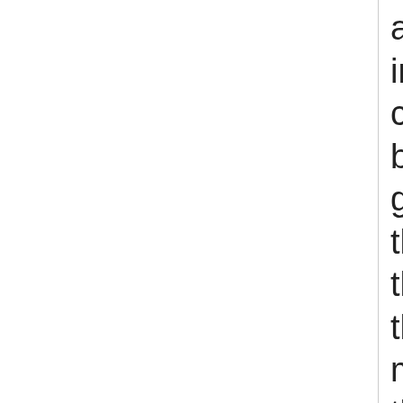archbishop, dressed in his robes, holding a cross, and attended by the spirit of a clerk, gazing sternly on these new works. As the priest came up, the figure spake to the masons, Why build ye these? As he spoke he struck the walls sharply with the holy cross, on which they reeled and sank into the river, leaving a wreath of smoke behind. The priest was too much scared